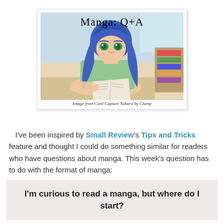[Figure (illustration): Manga-style illustration of an anime character with blue hair and green eyes reading a book, with text 'Manga: Q+A' at the top and a caption 'Image from Card Capture Sakura by Clamp' at the bottom]
Image from Card Capture Sakura by Clamp
I've been inspired by Small Review's Tips and Tricks feature and thought I could do something similar for readers who have questions about manga. This week's question has to do with the format of manga:
I'm curious to read a manga, but where do I start?